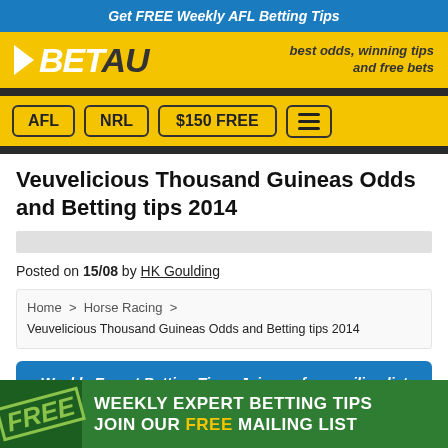Get FREE Weekly AFL Betting Tips
[Figure (logo): BET AU logo with arrow icon and tagline: best odds, winning tips and free bets]
AFL
NRL
$150 FREE
Veuvelicious Thousand Guineas Odds and Betting tips 2014
Posted on 15/08 by HK Goulding
Home > Horse Racing > Veuvelicious Thousand Guineas Odds and Betting tips 2014
Weekly Expert Betting Tips - Join our free mailing list
[Figure (infographic): Green banner: FREE - WEEKLY EXPERT BETTING TIPS JOIN OUR FREE MAILING LIST]